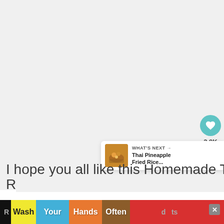[Figure (screenshot): Large blank/white-grey content area taking up most of the page, representing a food recipe webpage.]
[Figure (infographic): Floating action buttons on the right side: a teal heart/like button with '2.8K' count below it, and a white share button with share icon.]
[Figure (infographic): "WHAT'S NEXT" card in lower right showing a thumbnail of Thai Pineapple Fried Rice dish with text 'Thai Pineapple Fried Rice...']
I hope you all like this Homemade Thai
R...                                    d   ts
[Figure (infographic): Ad banner at bottom with hand-washing instructions: 'Wash Your Hands Often' with colorful hand images on yellow, blue, orange, brown, and red backgrounds, with an X close button.]